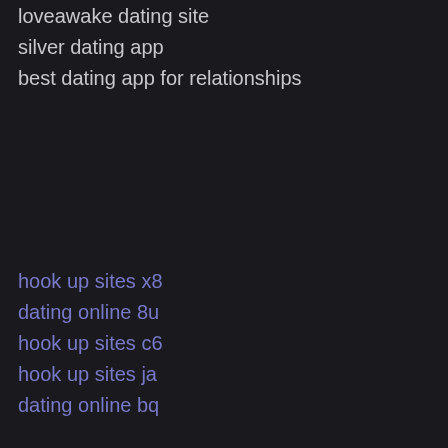loveawake dating site
silver dating app
best dating app for relationships
hook up sites x8
dating online 8u
hook up sites c6
hook up sites ja
dating online bq